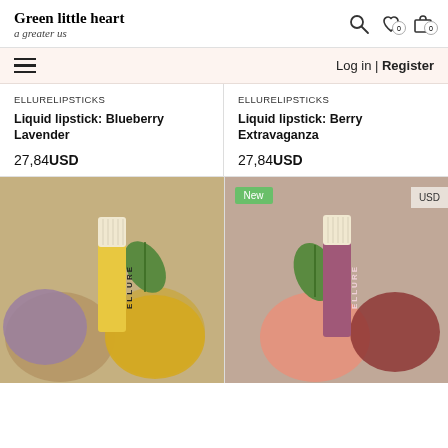Green little heart
a greater us
Log in | Register
ELLURELIPSTICKS
Liquid lipstick: Blueberry Lavender
27,84USD
ELLURELIPSTICKS
Liquid lipstick: Berry Extravaganza
27,84USD
[Figure (photo): Yellow ELLURE liquid lipstick bottle surrounded by yellow and purple textured decorative elements and a green leaf on a neutral background]
[Figure (photo): Berry/mauve ELLURE liquid lipstick bottle surrounded by coral, red and green decorative elements on a neutral background, with a green New badge]